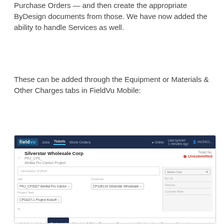Purchase Orders — and then create the appropriate ByDesign documents from those. We have now added the ability to handle Services as well.
These can be added through the Equipment or Materials & Other Charges tabs in FieldVu Mobile:
[Figure (screenshot): Screenshot of FieldVu Mobile app showing a ticket for Silverstar Wholesale Corp with navigation tabs (Jobs, Tickets, Work Orders), a form with Job, Customer, Project Task fields, a right panel with BC ID, Service, Contract Rate fields, and bottom tabs including Activity, Labor, Equipment (active), Materials & Other Charges, Expenses, Attachments, Forms, Approval.]